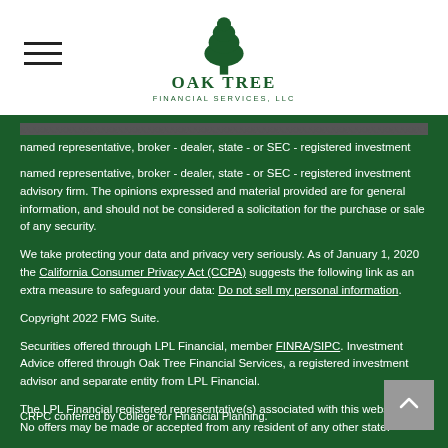[Figure (logo): Oak Tree Financial Services LLC logo with green tree icon and text]
named representative, broker - dealer, state - or SEC - registered investment advisory firm. The opinions expressed and material provided are for general information, and should not be considered a solicitation for the purchase or sale of any security.
We take protecting your data and privacy very seriously. As of January 1, 2020 the California Consumer Privacy Act (CCPA) suggests the following link as an extra measure to safeguard your data: Do not sell my personal information.
Copyright 2022 FMG Suite.
Securities offered through LPL Financial, member FINRA/SIPC. Investment Advice offered through Oak Tree Financial Services, a registered investment advisor and separate entity from LPL Financial.
The LPL Financial registered representative(s) associated with this website may discuss a... No offers may be made or accepted from any resident of any other state.
CRPC conferred by College for Financial Planning.